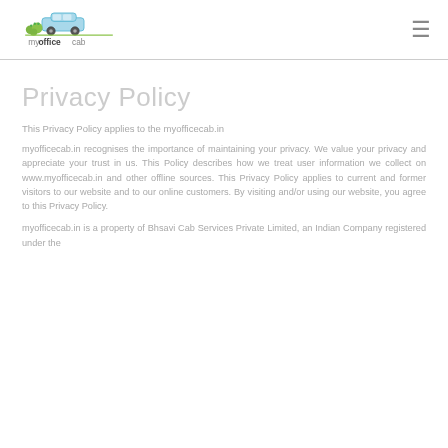[Figure (logo): myofficecab logo with car icon and green/blue design]
Privacy Policy
This Privacy Policy applies to the myofficecab.in
myofficecab.in recognises the importance of maintaining your privacy. We value your privacy and appreciate your trust in us. This Policy describes how we treat user information we collect on www.myofficecab.in and other offline sources. This Privacy Policy applies to current and former visitors to our website and to our online customers. By visiting and/or using our website, you agree to this Privacy Policy.
myofficecab.in is a property of Bhsavi Cab Services Private Limited, an Indian Company registered under the